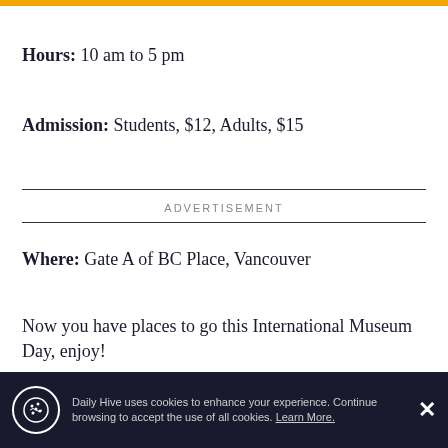Hours: 10 am to 5 pm
Admission: Students, $12, Adults, $15
ADVERTISEMENT
Where: Gate A of BC Place, Vancouver
Now you have places to go this International Museum Day, enjoy!
Daily Hive uses cookies to enhance your experience. Continue browsing to accept the use of all cookies. Learn More.